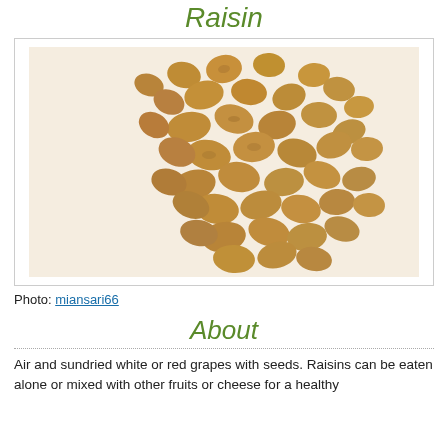Raisin
[Figure (photo): A pile of golden/light brown dried raisins photographed on a white background]
Photo: miansari66
About
Air and sundried white or red grapes with seeds. Raisins can be eaten alone or mixed with other fruits or cheese for a healthy